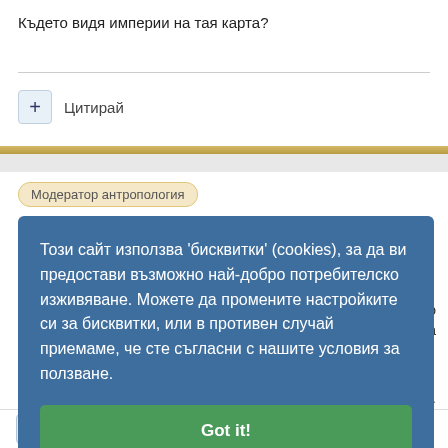Където видя империи на тая карта?
Цитирай
Модератор антропология
Този сайт използва 'бисквитки' (cookies), за да ви предостави възможно най-добро потребителско изживяване. Можете да промените настройките си за бисквитки, или в противен случай приемаме, че сте съгласни с нашите условия за ползване.
Got it!